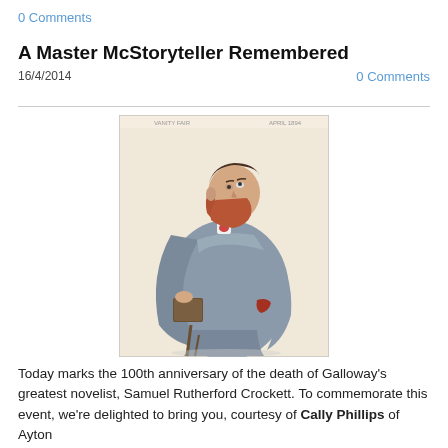0 Comments
A Master McStoryteller Remembered
16/4/2014
0 Comments
[Figure (illustration): Victorian-era caricature illustration of a large bearded man in a grey cape coat, holding a book, looking upward, rendered in Vanity Fair style]
Today marks the 100th anniversary of the death of Galloway's greatest novelist, Samuel Rutherford Crockett.  To commemorate this event, we're delighted to bring you, courtesy of Cally Phillips of Ayton